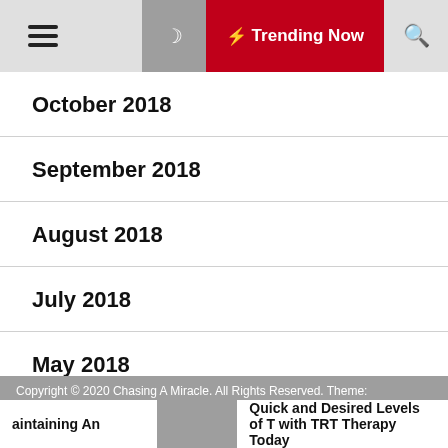Trending Now
October 2018
September 2018
August 2018
July 2018
May 2018
March 2018
Copyright © 2020 Chasing A Miracle. All Rights Reserved. Theme:
aintaining An | Quick and Desired Levels of T with TRT Therapy Today